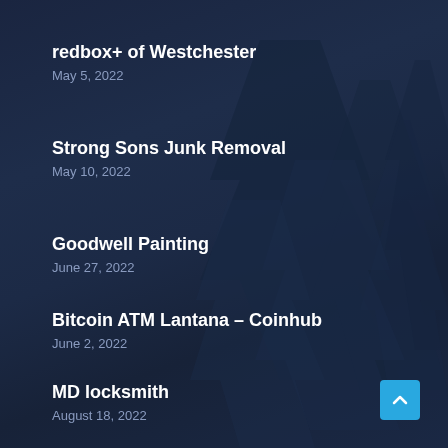redbox+ of Westchester
May 5, 2022
Strong Sons Junk Removal
May 10, 2022
Goodwell Painting
June 27, 2022
Bitcoin ATM Lantana – Coinhub
June 2, 2022
MD locksmith
August 18, 2022